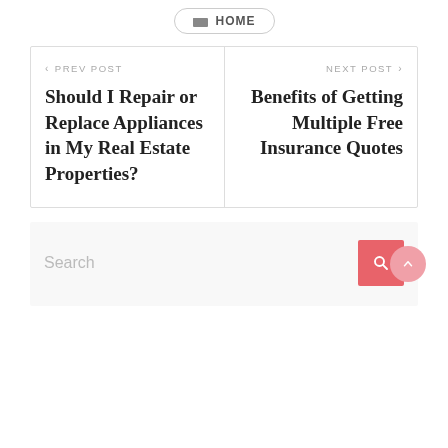HOME
< PREV POST
Should I Repair or Replace Appliances in My Real Estate Properties?
NEXT POST >
Benefits of Getting Multiple Free Insurance Quotes
Search